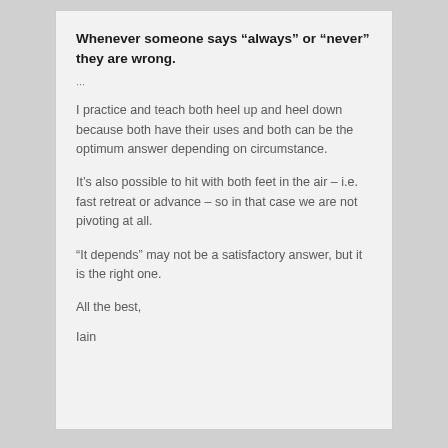Whenever someone says “always” or “never” they are wrong.
···
I practice and teach both heel up and heel down because both have their uses and both can be the optimum answer depending on circumstance.
It’s also possible to hit with both feet in the air – i.e. fast retreat or advance – so in that case we are not pivoting at all.
“It depends” may not be a satisfactory answer, but it is the right one.
All the best,
Iain